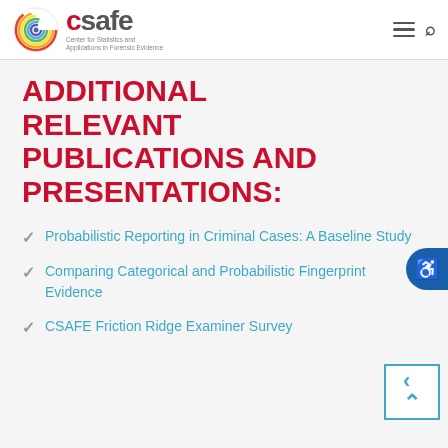CSAFE - Center for Statistics and Applications in Forensic Evidence
ADDITIONAL RELEVANT PUBLICATIONS AND PRESENTATIONS:
Probabilistic Reporting in Criminal Cases: A Baseline Study
Comparing Categorical and Probabilistic Fingerprint Evidence
CSAFE Friction Ridge Examiner Survey